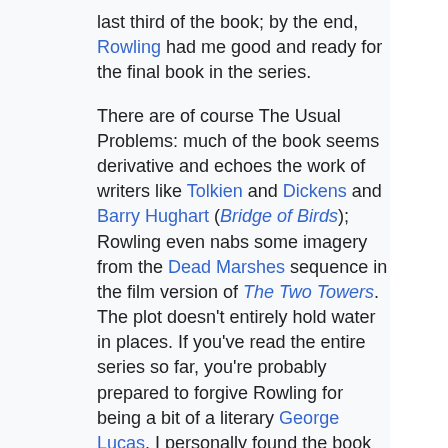last third of the book; by the end, Rowling had me good and ready for the final book in the series.
There are of course The Usual Problems: much of the book seems derivative and echoes the work of writers like Tolkien and Dickens and Barry Hughart (Bridge of Birds); Rowling even nabs some imagery from the Dead Marshes sequence in the film version of The Two Towers. The plot doesn't entirely hold water in places. If you've read the entire series so far, you're probably prepared to forgive Rowling for being a bit of a literary George Lucas. I personally found the book (along with all the